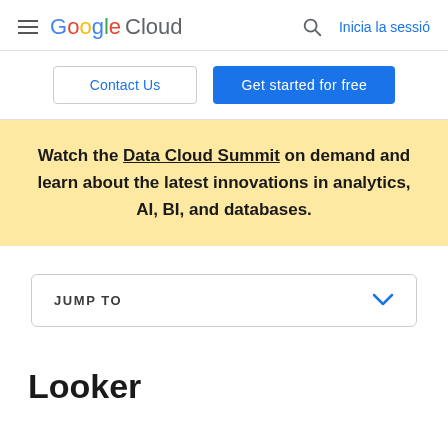Google Cloud  Inicia la sessió
Contact Us  Get started for free
Watch the Data Cloud Summit on demand and learn about the latest innovations in analytics, AI, BI, and databases.
JUMP TO
Looker